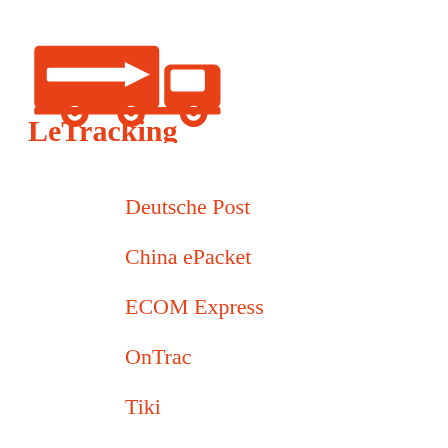[Figure (logo): LeTracking logo with red delivery truck icon and red text 'LeTracking' below]
Deutsche Post
China ePacket
ECOM Express
OnTrac
Tiki
RL Carriers